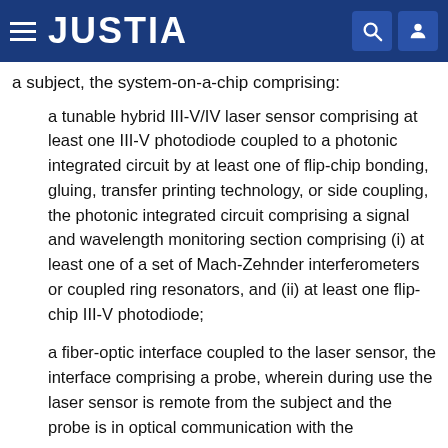JUSTIA
a subject, the system-on-a-chip comprising:
a tunable hybrid III-V/IV laser sensor comprising at least one III-V photodiode coupled to a photonic integrated circuit by at least one of flip-chip bonding, gluing, transfer printing technology, or side coupling, the photonic integrated circuit comprising a signal and wavelength monitoring section comprising (i) at least one of a set of Mach-Zehnder interferometers or coupled ring resonators, and (ii) at least one flip-chip III-V photodiode;
a fiber-optic interface coupled to the laser sensor, the interface comprising a probe, wherein during use the laser sensor is remote from the subject and the probe is in optical communication with the